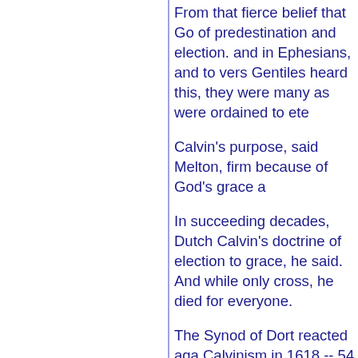From that fierce belief that Go of predestination and election. and in Ephesians, and to vers Gentiles heard this, they were many as were ordained to ete
Calvin's purpose, said Melton, firm because of God's grace a
In succeeding decades, Dutch Calvin's doctrine of election to grace, he said. And while only cross, he died for everyone.
The Synod of Dort reacted aga Calvinism in 1618 -- 54 years
Through the centuries, the deb really ceased. The foremost pr George Whitefield and John W
In more recent history, the con